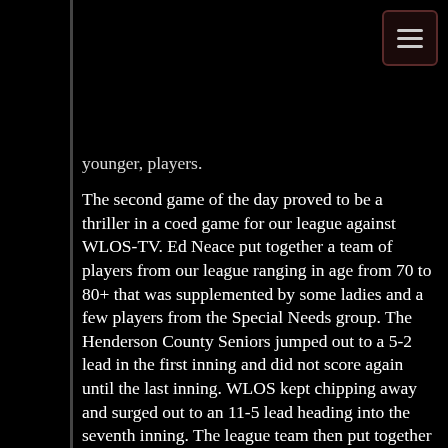younger, players. The second game of the day proved to be a thriller in a coed game for our league against WLOS-TV. Ed Neace put together a team of players from our league ranging in age from 70 to 80+ that was supplemented by some ladies and a few players from the Special Needs group. The Henderson County Seniors jumped out to a 5-2 lead in the first inning and did not score again until the last inning. WLOS kept chipping away and surged out to an 11-5 lead heading into the seventh inning. The league team then put together some timely hitting accompanied by some “charity” from WLOS and scored seven runs to storm